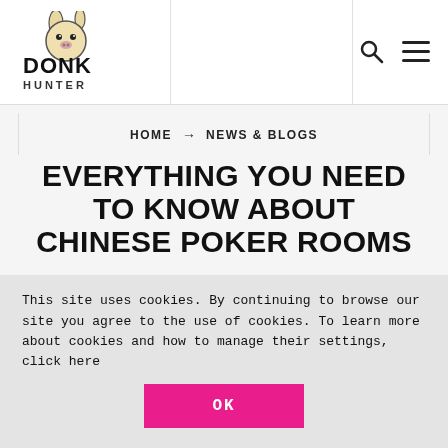[Figure (logo): Donk Hunter logo — cartoon donkey face with 'DONK HUNTER' text]
HOME → NEWS & BLOGS
EVERYTHING YOU NEED TO KNOW ABOUT CHINESE POKER ROOMS
Chinese Poker Rooms are surrounded by questions, doubts and mystery. Most players don't know how they work, how to join them nor how dangerous they actually are. To expose all of that, I tested it myself and wrote this guide with all the information you
This site uses cookies. By continuing to browse our site you agree to the use of cookies. To learn more about cookies and how to manage their settings, click here
OK